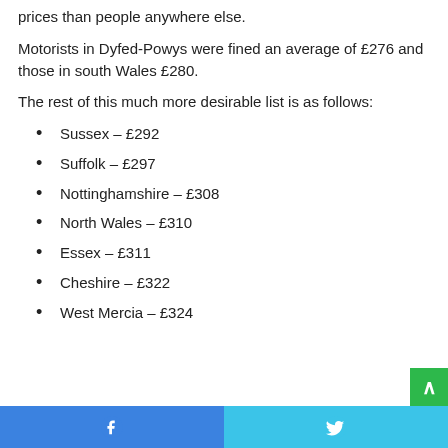prices than people anywhere else.
Motorists in Dyfed-Powys were fined an average of £276 and those in south Wales £280.
The rest of this much more desirable list is as follows:
Sussex – £292
Suffolk – £297
Nottinghamshire – £308
North Wales – £310
Essex – £311
Cheshire – £322
West Mercia – £324
Facebook share | Twitter share